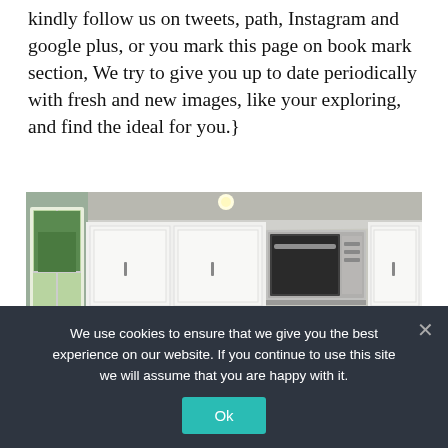kindly follow us on tweets, path, Instagram and google plus, or you mark this page on book mark section, We try to give you up to date periodically with fresh and new images, like your exploring, and find the ideal for you.}
[Figure (photo): Interior photo of a modern kitchen with white upper and lower cabinets, stainless steel microwave above the range, marble-look countertops, and a window on the left showing green trees outside.]
We use cookies to ensure that we give you the best experience on our website. If you continue to use this site we will assume that you are happy with it.